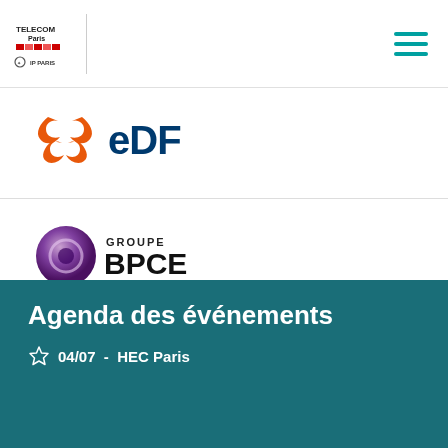[Figure (logo): Telecom Paris / IP Paris logo in header]
[Figure (logo): EDF logo with orange swoosh marks and blue EDF text]
[Figure (logo): Groupe BPCE logo with purple sphere and black text]
[Figure (logo): Schlumberger logo in dark blue bold italic text]
Agenda des événements
04/07 - HEC Paris